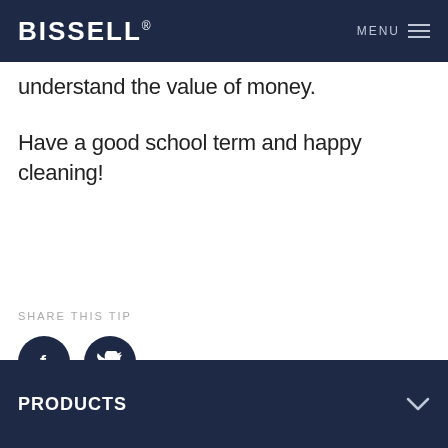BISSELL® MENU
understand the value of money.
Have a good school term and happy cleaning!
SHARE THIS TIP
[Figure (other): Facebook and Twitter social media share icons — two dark navy circular buttons with white f and bird logos]
PRODUCTS